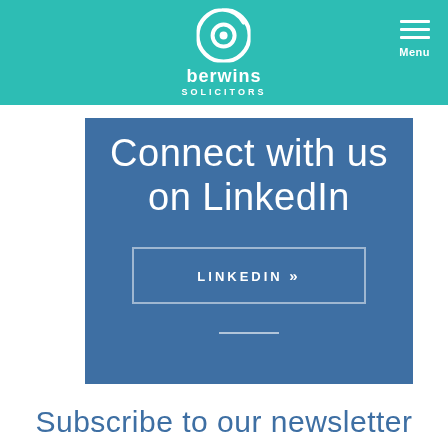berwins SOLICITORS
Connect with us on LinkedIn
LINKEDIN »
Subscribe to our newsletter